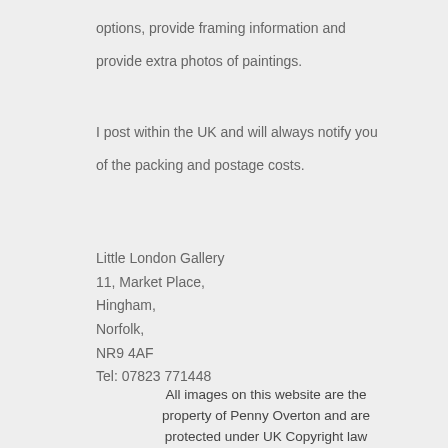options, provide framing information and provide extra photos of paintings.
I post within the UK and will always notify you of the packing and postage costs.
Little London Gallery
11, Market Place,
Hingham,
Norfolk,
NR9 4AF
Tel: 07823 771448
All images on this website are the property of Penny Overton and are protected under UK Copyright law